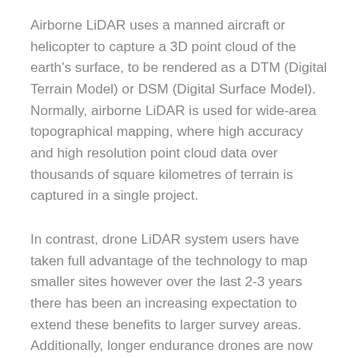Airborne LiDAR uses a manned aircraft or helicopter to capture a 3D point cloud of the earth's surface, to be rendered as a DTM (Digital Terrain Model) or DSM (Digital Surface Model). Normally, airborne LiDAR is used for wide-area topographical mapping, where high accuracy and high resolution point cloud data over thousands of square kilometres of terrain is captured in a single project.
In contrast, drone LiDAR system users have taken full advantage of the technology to map smaller sites however over the last 2-3 years there has been an increasing expectation to extend these benefits to larger survey areas. Additionally, longer endurance drones are now available which will widen the type of applications UAV LiDAR can be used for.